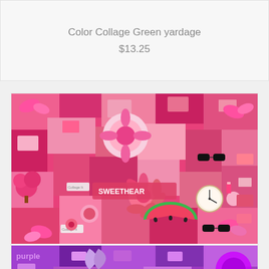Color Collage Green yardage
$13.25
[Figure (photo): Color collage pink fabric yardage — dense collage of pink items including butterflies, flowers, sunglasses, watermelon, clock, candy, and text elements on a pink background]
Color Collage Pink yardage
$13.25
[Figure (photo): Partial view of color collage purple fabric yardage — dense collage of purple items]